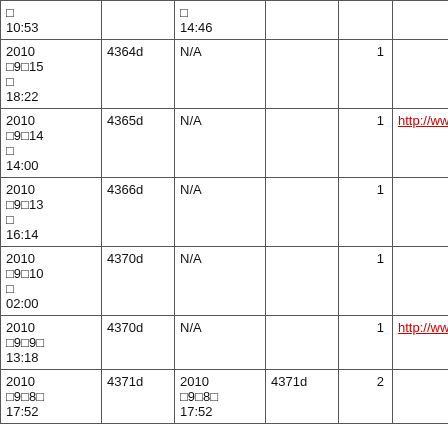| □
10:53 |  | □
14:46 |  |  |  |
| 2010
□9□15
□
18:22 | 4364d | N/A |  | 1 |  |
| 2010
□9□14
□
14:00 | 4365d | N/A |  | 1 | http://www.google.co.jp/... |
| 2010
□9□13
□
16:14 | 4366d | N/A |  | 1 |  |
| 2010
□9□10
□
02:00 | 4370d | N/A |  | 1 |  |
| 2010
□9□9□
13:18 | 4370d | N/A |  | 1 | http://www.google.co.jp/... |
| 2010
□9□8□
17:52 | 4371d | 2010
□9□8□
17:52 | 4371d | 2 |  |